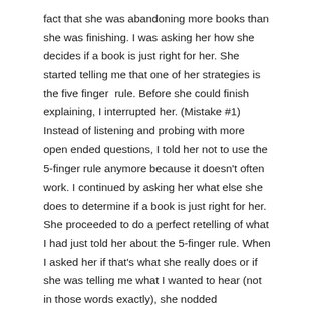fact that she was abandoning more books than she was finishing. I was asking her how she decides if a book is just right for her. She started telling me that one of her strategies is the five finger  rule. Before she could finish explaining, I interrupted her. (Mistake #1) Instead of listening and probing with more open ended questions, I told her not to use the 5-finger rule anymore because it doesn't often work. I continued by asking her what else she does to determine if a book is just right for her. She proceeded to do a perfect retelling of what I had just told her about the 5-finger rule. When I asked her if that's what she really does or if she was telling me what I wanted to hear (not in those words exactly), she nodded sheepishly.
One lesson that I am learning over and over again during this first month of school is that I need to listen more and talk less. I need to simpler questions that force students to dig deep within themselves for their truth. I need to ask questions that help the learner think for herself. I need to ask questions that support students in doing more of the work. I need to ask questions that honor the learner and what